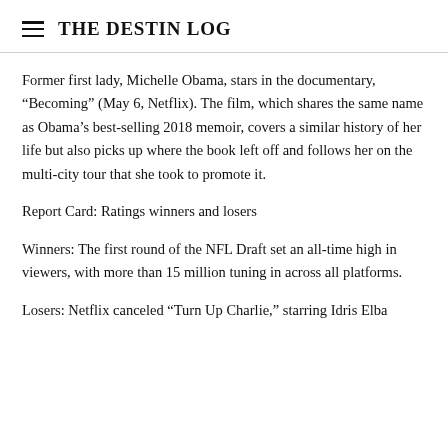THE DESTIN LOG
Former first lady, Michelle Obama, stars in the documentary, “Becoming” (May 6, Netflix). The film, which shares the same name as Obama’s best-selling 2018 memoir, covers a similar history of her life but also picks up where the book left off and follows her on the multi-city tour that she took to promote it.
Report Card: Ratings winners and losers
Winners: The first round of the NFL Draft set an all-time high in viewers, with more than 15 million tuning in across all platforms.
Losers: Netflix canceled “Turn Up Charlie,” starring Idris Elba